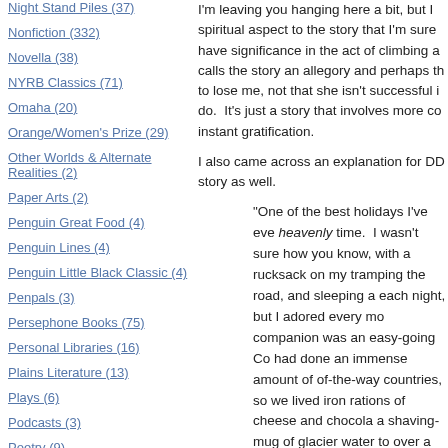Night Stand Piles (37)
Nonfiction (332)
Novella (38)
NYRB Classics (71)
Omaha (20)
Orange/Women's Prize (29)
Other Worlds & Alternate Realities (2)
Paper Arts (2)
Penguin Great Food (4)
Penguin Lines (4)
Penguin Little Black Classic (4)
Penpals (3)
Persephone Books (75)
Personal Libraries (16)
Plains Literature (13)
Plays (6)
Podcasts (3)
Poetry (9)
I'm leaving you hanging here a bit, but I spiritual aspect to the story that I'm sure have significance in the act of climbing a calls the story an allegory and perhaps th to lose me, not that she isn't successful i do.  It's just a story that involves more co instant gratification.
I also came across an explanation for DD story as well.
"One of the best holidays I've eve heavenly time.  I wasn't sure how you know, with a rucksack on my tramping the road, and sleeping a each night, but I adored every mo companion was an easy-going Co had done an immense amount of of-the-way countries, so we lived iron rations of cheese and chocola a shaving-mug of glacier water to over a camp fire!"
"The Rhone is quite beautiful, whe mountain torrent, and the strange